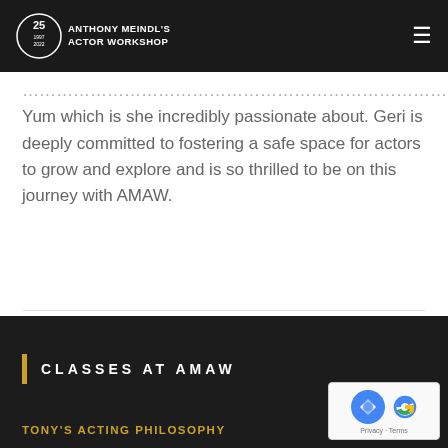ANTHONY MEINDL'S ACTOR WORKSHOP
Yum which is she incredibly passionate about. Geri is deeply committed to fostering a safe space for actors to grow and explore and is so thrilled to be on this journey with AMAW.
CLASSES AT AMAW
TONY'S ACTING PHILOSOPHY
[Figure (logo): reCAPTCHA badge with Privacy and Terms links]